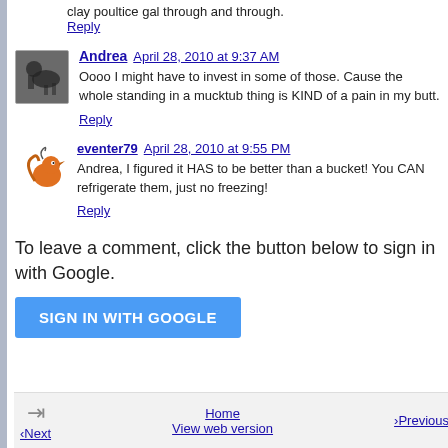clay poultice gal through and through.
Reply
Andrea   April 28, 2010 at 9:37 AM
Oooo I might have to invest in some of those. Cause the whole standing in a mucktub thing is KIND of a pain in my butt.
Reply
[Figure (illustration): Avatar: silhouette of a person with a horse, orange and black tones]
eventer79   April 28, 2010 at 9:55 PM
Andrea, I figured it HAS to be better than a bucket! You CAN refrigerate them, just no freezing!
Reply
To leave a comment, click the button below to sign in with Google.
SIGN IN WITH GOOGLE
‹Next   Home   View web version   ›Previous